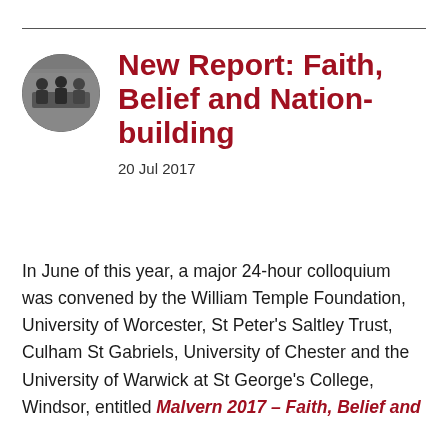[Figure (photo): Circular black-and-white photograph of people gathered around a table]
New Report: Faith, Belief and Nation-building
20 Jul 2017
In June of this year, a major 24-hour colloquium was convened by the William Temple Foundation, University of Worcester, St Peter’s Saltley Trust, Culham St Gabriels, University of Chester and the University of Warwick at St George’s College, Windsor, entitled Malvern 2017 – Faith, Belief and